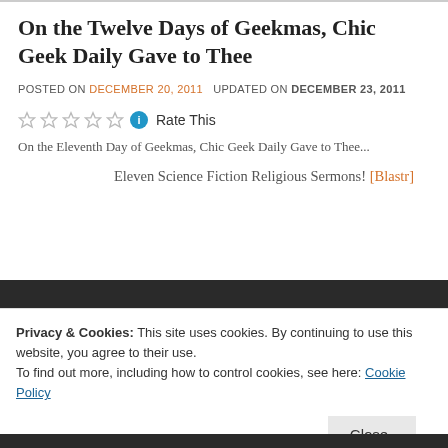On the Twelve Days of Geekmas, Chic Geek Daily Gave to Thee
POSTED ON DECEMBER 20, 2011   UPDATED ON DECEMBER 23, 2011
Rate This
On the Eleventh Day of Geekmas, Chic Geek Daily Gave to Thee...
Eleven Science Fiction Religious Sermons! [Blastr]
Privacy & Cookies: This site uses cookies. By continuing to use this website, you agree to their use.
To find out more, including how to control cookies, see here: Cookie Policy
Close and accept